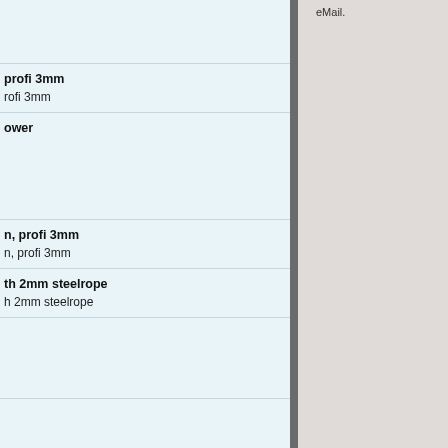eMail.
| profi 3mm | profi 3mm |
| ower |  |
| n, profi 3mm | n, profi 3mm |
| th 2mm steelrope | th 2mm steelrope |
|  |  |